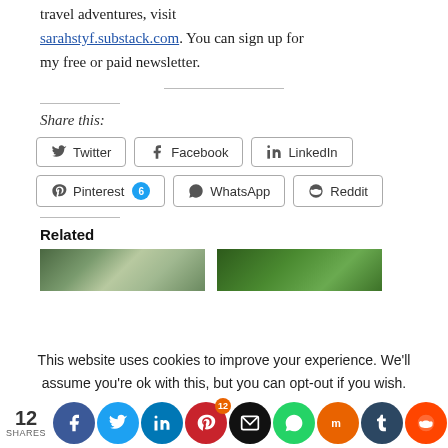travel adventures, visit sarahstyf.substack.com. You can sign up for my free or paid newsletter.
Share this:
[Figure (infographic): Social share buttons: Twitter, Facebook, LinkedIn, Pinterest 6, WhatsApp, Reddit]
Related
[Figure (photo): Two related article thumbnail images - trees/forest scenes]
This website uses cookies to improve your experience. We'll assume you're ok with this, but you can opt-out if you wish.
[Figure (infographic): Social share bar at bottom: 12 SHARES, Facebook, Twitter, LinkedIn, Pinterest with badge 12, Email, WhatsApp, Mix, Tumblr, Reddit icons]